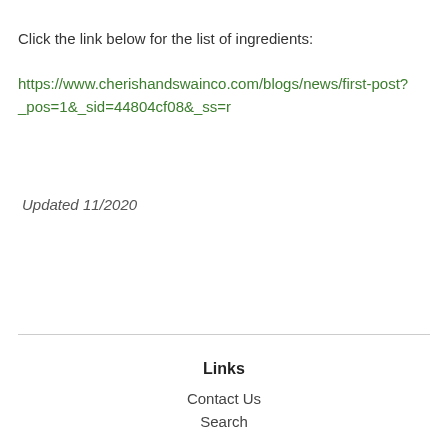Click the link below for the list of ingredients:
https://www.cherishandswainco.com/blogs/news/first-post?_pos=1&_sid=44804cf08&_ss=r
Updated 11/2020
Links
Contact Us
Search